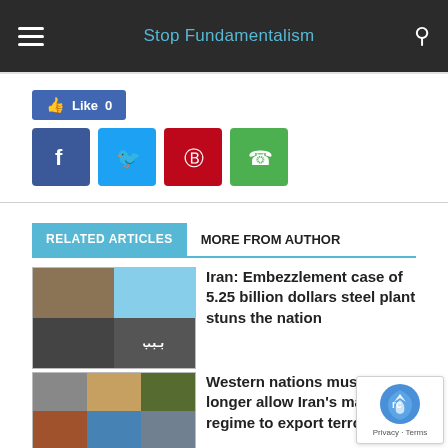Stop Fundamentalism
[Figure (screenshot): Facebook Like button showing 0 likes]
[Figure (infographic): Social share buttons: Facebook, Twitter, Pinterest, WhatsApp]
RELATED ARTICLES   MORE FROM AUTHOR
[Figure (photo): Thumbnail composite image for steel plant embezzlement article]
Iran: Embezzlement case of 5.25 billion dollars steel plant stuns the nation
[Figure (photo): Collage of faces for Western nations terrorism article]
Western nations must no longer allow Iran's malign regime to export terrorism